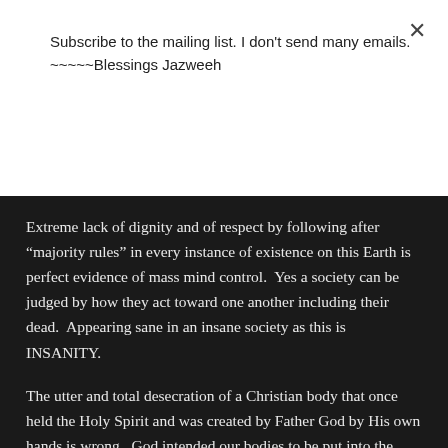Subscribe to the mailing list. I don't send many emails.
~~~~~Blessings Jazweeh
Subscribe
Extreme lack of dignity and of respect by following after “majority rules” in every instance of existence on this Earth is perfect evidence of mass mind control.  Yes a society can be judged by how they act toward one another including their dead.  Appearing sane in an insane society as this is INSANITY.
The utter and total desecration of a Christian body that once held the Holy Spirit and was created by Father God by His own hands is wrong.  God intended our bodies to be put into the Earth from whence it came.  Embalming is